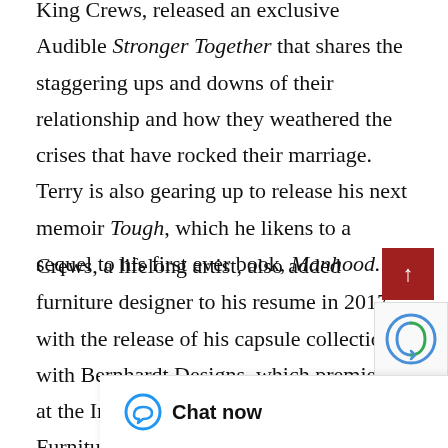King Crews, released an exclusive Audible Stronger Together that shares the staggering ups and downs of their relationship and how they weathered the crises that have rocked their marriage. Terry is also gearing up to release his next memoir Tough, which he likens to a sequel to his first ever book, Manhood.
Crews, a lifelong artist, also added furniture designer to his resume in 2017 with the release of his capsule collection with Bernhardt Designs, which premiered at the International Contemporary Furniture Fair in New York and was named “Best of NeoCon 2…”